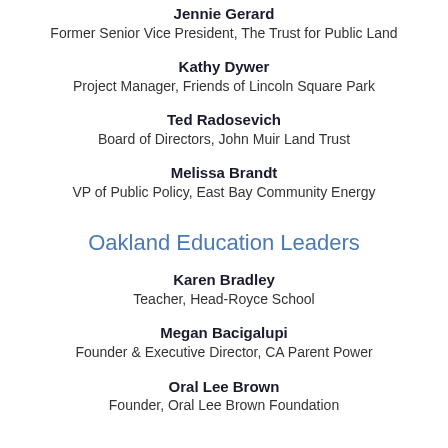Jennie Gerard
Former Senior Vice President, The Trust for Public Land
Kathy Dywer
Project Manager, Friends of Lincoln Square Park
Ted Radosevich
Board of Directors, John Muir Land Trust
Melissa Brandt
VP of Public Policy, East Bay Community Energy
Oakland Education Leaders
Karen Bradley
Teacher, Head-Royce School
Megan Bacigalupi
Founder & Executive Director, CA Parent Power
Oral Lee Brown
Founder, Oral Lee Brown Foundation